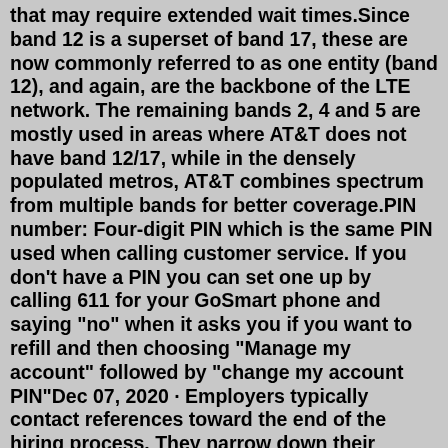that may require extended wait times.Since band 12 is a superset of band 17, these are now commonly referred to as one entity (band 12), and again, are the backbone of the LTE network. The remaining bands 2, 4 and 5 are mostly used in areas where AT&T does not have band 12/17, while in the densely populated metros, AT&T combines spectrum from multiple bands for better coverage.PIN number: Four-digit PIN which is the same PIN used when calling customer service. If you don't have a PIN you can set one up by calling 611 for your GoSmart phone and saying "no" when it asks you if you want to refill and then choosing "Manage my account" followed by "change my account PIN"Dec 07, 2020 · Employers typically contact references toward the end of the hiring process. They narrow down their candidate pool to just a few choices, giving them time to contact each reference. They use these references to help them decide between the last few candidates and ensure they hire the right person for the job. Employers could ask for references ... To check the status of your